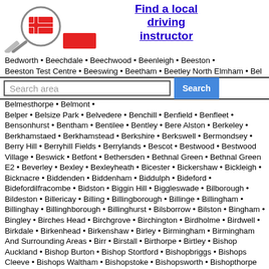[Figure (logo): Magnifying glass logo with red UK flag icon and pencil]
Find a local driving instructor
Bedworth • Beechdale • Beechwood • Beenleigh • Beeston • Beeston Test Centre • Beeswing • Beetham • Beetley North Elmham • Bel
Belmesthorpe • Belmont • Belper • Belsize Park • Belvedere • Benchill • Benfield • Benfleet • Bensonhurst • Bentham • Bentilee • Bentley • Bere Alston • Berkeley • Berkhamstaed • Berkhamstead • Berkshire • Berkswell • Bermondsey • Berry Hill • Berryhill Fields • Berrylands • Bescot • Bestwood • Bestwood Village • Beswick • Betfont • Bethersden • Bethnal Green • Bethnal Green E2 • Beverley • Bexley • Bexleyheath • Bicester • Bickershaw • Bickleigh • Bicknacre • Biddenden • Biddenham • Biddulph • Bideford • Bidefordilfracombe • Bidston • Biggin Hill • Biggleswade • Bilborough • Bildeston • Billericay • Billing • Billingborough • Billinge • Billingham • Billinghay • Billinghborough • Billinghurst • Bilsborrow • Bilston • Bingham • Bingley • Birches Head • Birchgrove • Birchington • Birdholme • Birdwell • Birkdale • Birkenhead • Birkenshaw • Birley • Birmingham • Birmingham And Surrounding Areas • Birr • Birstall • Birthorpe • Birtley • Bishop Auckland • Bishop Burton • Bishop Stortford • Bishopbriggs • Bishops Cleeve • Bishops Waltham • Bishopstoke • Bishopsworth • Bishopthorpe And York • Bishopton • Bispham • Bittern • Bitterne • Black Heath • Blackacre • Blackbrook • Blackburn • Blackfen • Blackhall • Blackheath • Blackley • Blackpool • Blackshaw • Blackwall • Blackwater • Blackwell Newton • Blackwood • Blaenavon • Blairdardie • Blakesley • Blanchardstown • Blandford • Blantyre • Blaydon • Blean • Bledlow Ridge • Bletchley • Blidworth • Blisworth • Blofield • Bloxwich • Bloxwich Brierley Hill • Blue Bell Hill • Blundellsands • Blunham • Blurton • Blyth • Blyth Bridge • Blythe Bridge • Bo Ess • Bodelwyddan • Bodmin • Bognor •